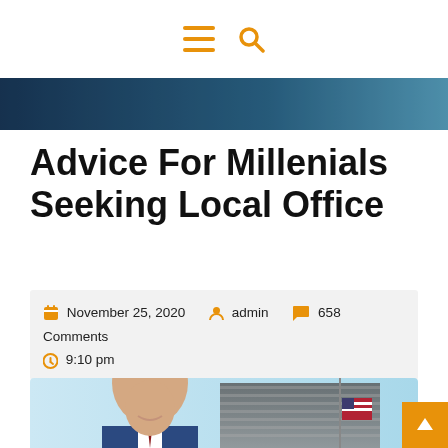≡  🔍
[Figure (photo): Header background showing people in an office or public setting]
Advice For Millenials Seeking Local Office
November 25, 2020   admin   658 Comments   9:10 pm
[Figure (photo): Smiling young man in a suit standing in front of a tall building with an American flag]